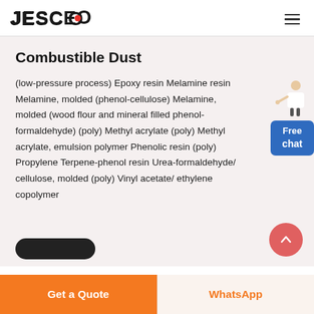JESCO
Combustible Dust
(low-pressure process) Epoxy resin Melamine resin Melamine, molded (phenol-cellulose) Melamine, molded (wood flour and mineral filled phenol-formaldehyde) (poly) Methyl acrylate (poly) Methyl acrylate, emulsion polymer Phenolic resin (poly) Propylene Terpene-phenol resin Urea-formaldehyde/ cellulose, molded (poly) Vinyl acetate/ ethylene copolymer
[Figure (illustration): Free chat widget with a figure of a person and a blue button labeled 'Free chat']
[Figure (illustration): Pink/red circular scroll-to-top button with an upward chevron arrow]
Get a Quote
WhatsApp